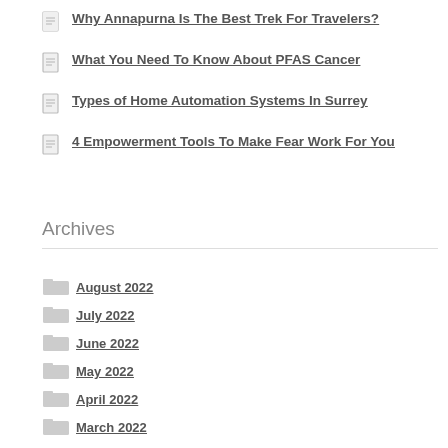Why Annapurna Is The Best Trek For Travelers?
What You Need To Know About PFAS Cancer
Types of Home Automation Systems In Surrey
4 Empowerment Tools To Make Fear Work For You
Archives
August 2022
July 2022
June 2022
May 2022
April 2022
March 2022